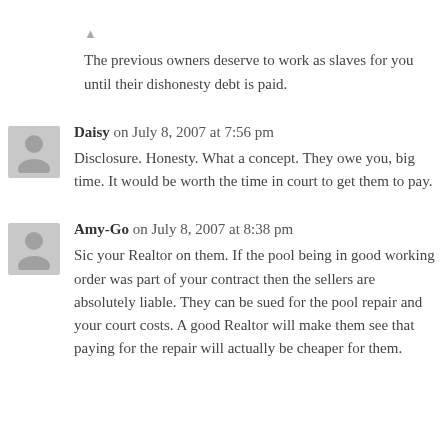Otto is a winner and a role model.
The previous owners deserve to work as slaves for you until their dishonesty debt is paid.
Daisy on July 8, 2007 at 7:56 pm
Disclosure. Honesty. What a concept. They owe you, big time. It would be worth the time in court to get them to pay.
Amy-Go on July 8, 2007 at 8:38 pm
Sic your Realtor on them. If the pool being in good working order was part of your contract then the sellers are absolutely liable. They can be sued for the pool repair and your court costs. A good Realtor will make them see that paying for the repair will actually be cheaper for them.